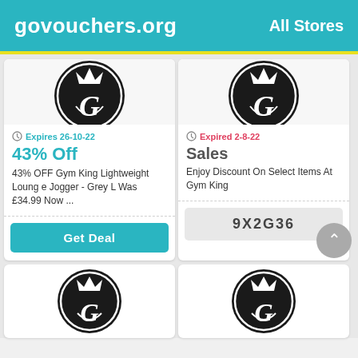govouchers.org   All Stores
[Figure (logo): Gym King circular logo (black circle with stylized G crown emblem), top of left card, partially cropped]
Expires 26-10-22
43% Off
43% OFF Gym King Lightweight Lounge Jogger - Grey L Was £34.99 Now ...
Get Deal
[Figure (logo): Gym King circular logo (black circle with stylized G crown emblem), top of right card, partially cropped]
Expired 2-8-22
Sales
Enjoy Discount On Select Items At Gym King
9X2G36
[Figure (logo): Gym King circular logo (black circle with stylized G crown emblem), bottom left card]
[Figure (logo): Gym King circular logo (black circle with stylized G crown emblem), bottom right card]